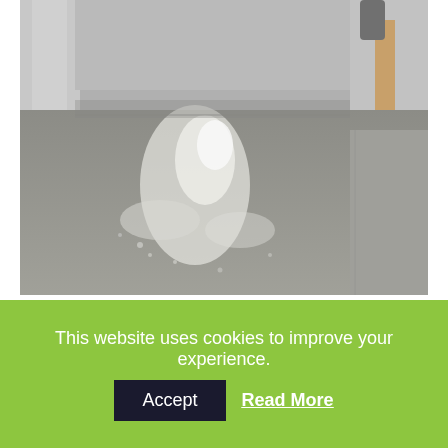[Figure (photo): Close-up photograph of a concrete or screed floor in a room with grey walls. The floor shows wet or freshly applied screed/compound with white marks and streaks across the surface. A grey pipe is visible in the top-right corner near the wall junction, and a wooden door frame is visible on the right side.]
We need to leave that to dry for a couple more days, so whilst we were in the big city today, we picked up some
This website uses cookies to improve your experience.
Accept
Read More